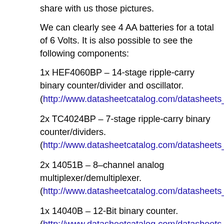share with us those pictures.
We can clearly see 4 AA batteries for a total of 6 Volts. It is also possible to see the following components:
1x HEF4060BP – 14-stage ripple-carry binary counter/divider and oscillator. (http://www.datasheetcatalog.com/datasheets_pdf/H/E/F/4/HEF4060BP.shtml)
2x TC4024BP – 7-stage ripple-carry binary counter/dividers. (http://www.datasheetcatalog.com/datasheets_pdf/T/C/4/0/TC4024BP.shtml)
2x 14051B – 8–channel analog multiplexer/demultiplexer. (http://www.datasheetcatalog.com/datasheets_pdf/M/C/1/4/MC14051.shtml)
1x 14040B – 12-Bit binary counter. (http://www.datasheetcatalog.com/datasheets_pdf/M/C/